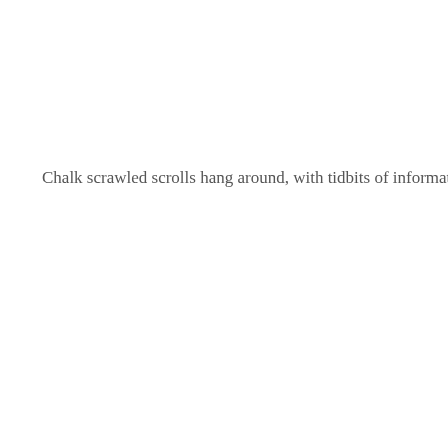Chalk scrawled scrolls hang around, with tidbits of information